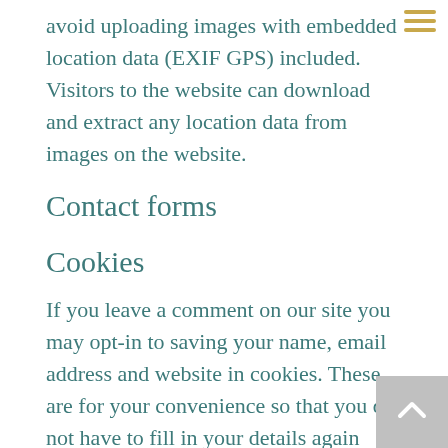avoid uploading images with embedded location data (EXIF GPS) included. Visitors to the website can download and extract any location data from images on the website.
Contact forms
Cookies
If you leave a comment on our site you may opt-in to saving your name, email address and website in cookies. These are for your convenience so that you do not have to fill in your details again when you leave another comment. These cookies will last for one year.
If you visit our login page, we will set a temporary